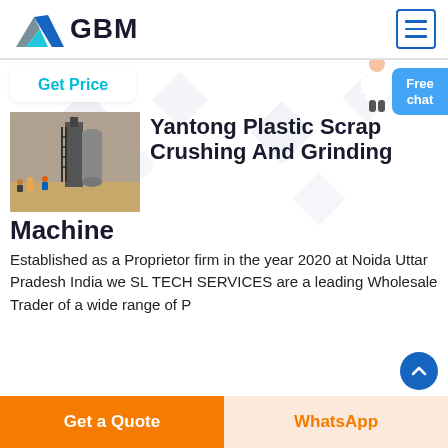[Figure (logo): GBM logo with triangular mountain/arrow graphic in blue, teal, and gray, with bold text GBM]
Get Price
[Figure (photo): Industrial plastic scrap crushing and grinding machine at a site with workers and tall cylindrical structures]
Yantong Plastic Scrap Crushing And Grinding Machine
Established as a Proprietor firm in the year 2020 at Noida Uttar Pradesh India we SL TECH SERVICES are a leading Wholesale Trader of a wide range of P...
Get a Quote
WhatsApp